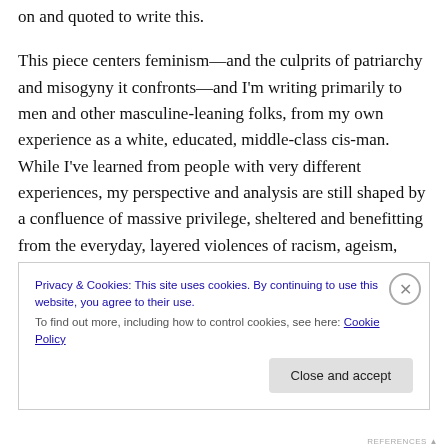on and quoted to write this.
This piece centers feminism—and the culprits of patriarchy and misogyny it confronts—and I'm writing primarily to men and other masculine-leaning folks, from my own experience as a white, educated, middle-class cis-man. While I've learned from people with very different experiences, my perspective and analysis are still shaped by a confluence of massive privilege, sheltered and benefitting from the everyday, layered violences of racism, ageism, ableism, colonialism, capitalism, and
Privacy & Cookies: This site uses cookies. By continuing to use this website, you agree to their use.
To find out more, including how to control cookies, see here: Cookie Policy
Close and accept